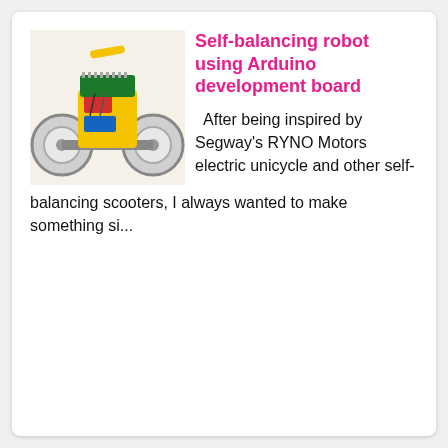[Figure (photo): A small self-balancing robot made with an Arduino development board, featuring two large white wheels, mounted electronics including a blue component, and a yellow/red structure.]
Self-balancing robot using Arduino development board
After being inspired by Segway's RYNO Motors electric unicycle and other self-balancing scooters, I always wanted to make something si...